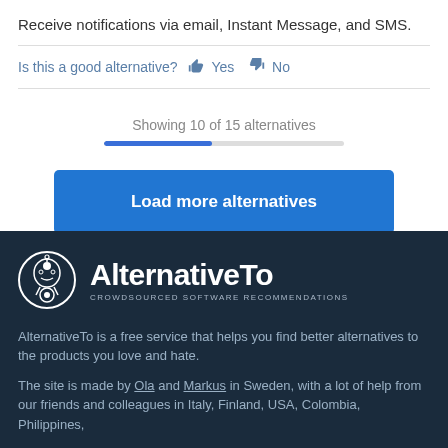Receive notifications via email, Instant Message, and SMS.
Is this a good alternative? 👍 Yes 👎 No
Showing 10 of 15 alternatives
Load more alternatives
[Figure (logo): AlternativeTo logo - circle with robot/alien figure, text AlternativeTo, tagline CROWDSOURCED SOFTWARE RECOMMENDATIONS]
AlternativeTo is a free service that helps you find better alternatives to the products you love and hate.
The site is made by Ola and Markus in Sweden, with a lot of help from our friends and colleagues in Italy, Finland, USA, Colombia, Philippines,